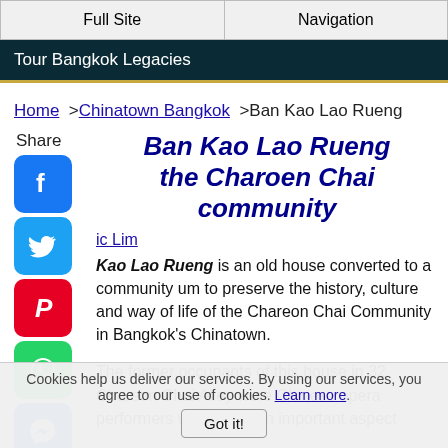Full Site | Navigation
Tour Bangkok Legacies
Home > Chinatown Bangkok > Ban Kao Lao Rueng
Share
Ban Kao Lao Rueng the Charoen Chai community
ic Lim
Kao Lao Rueng is an old house converted to a community um to preserve the history, culture and way of life of the Chareon Chai Community in Bangkok's Chinatown.
The former occupants of this house in 32 Chareon Chai Alley were Chinese opera performers which was an important aspect
Cookies help us deliver our services. By using our services, you agree to our use of cookies. Learn more.
Got it!